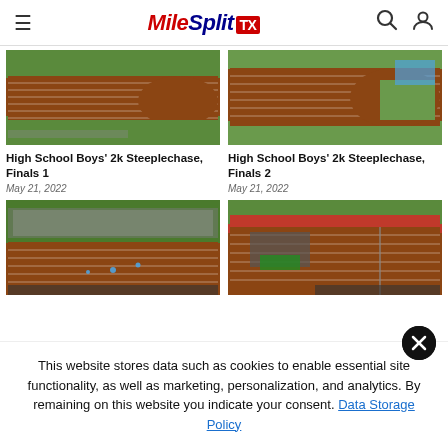MileSplit TX
[Figure (photo): Aerial view of a red running track with green infield, athletes and spectators visible - High School Boys' 2k Steeplechase Finals 1]
High School Boys' 2k Steeplechase, Finals 1
May 21, 2022
[Figure (photo): Aerial view of a red running track with green infield and blue tent - High School Boys' 2k Steeplechase Finals 2]
High School Boys' 2k Steeplechase, Finals 2
May 21, 2022
[Figure (photo): Ground-level view of athletes running on a track with bleachers in background]
[Figure (photo): Aerial view of red running track with equipment and vehicles on infield]
This website stores data such as cookies to enable essential site functionality, as well as marketing, personalization, and analytics. By remaining on this website you indicate your consent. Data Storage Policy